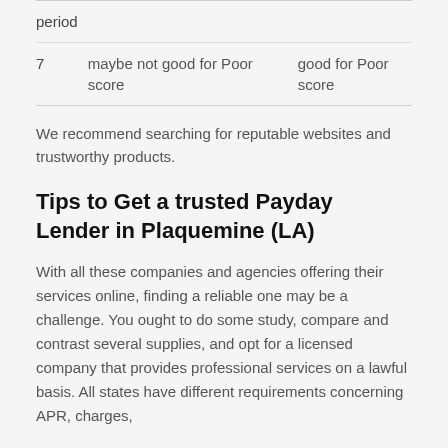| 7 | maybe not good for Poor score | good for Poor score |
We recommend searching for reputable websites and trustworthy products.
Tips to Get a trusted Payday Lender in Plaquemine (LA)
With all these companies and agencies offering their services online, finding a reliable one may be a challenge. You ought to do some study, compare and contrast several supplies, and opt for a licensed company that provides professional services on a lawful basis. All states have different requirements concerning APR, charges,